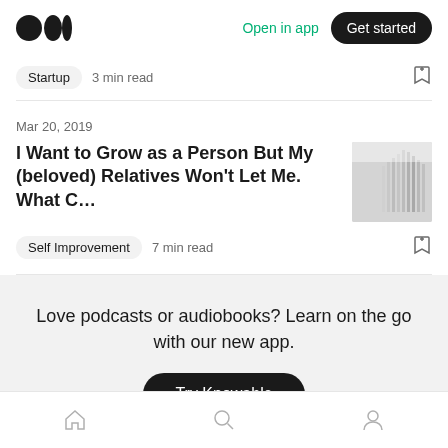Medium logo | Open in app | Get started
Startup   3 min read
Mar 20, 2019
I Want to Grow as a Person But My (beloved) Relatives Won't Let Me. What C...
Self Improvement   7 min read
Love podcasts or audiobooks? Learn on the go with our new app.
Try Knowable
Home | Search | Profile